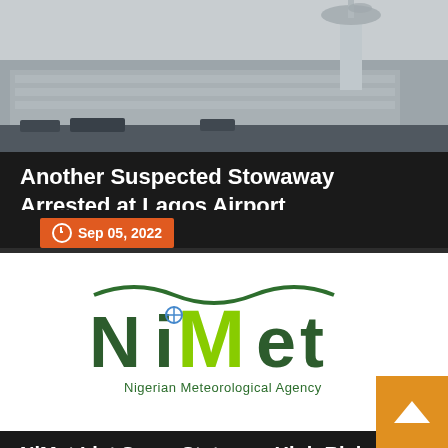[Figure (photo): Aerial view of Lagos Airport terminal building with control tower]
Another Suspected Stowaway Arrested at Lagos Airport
Sep 05, 2022
[Figure (logo): NiMet - Nigerian Meteorological Agency logo on white background]
NiMet List Some States as High Risk of Flood In September
Sep 05, 2022
[Figure (photo): Airport interior terminal partial view]